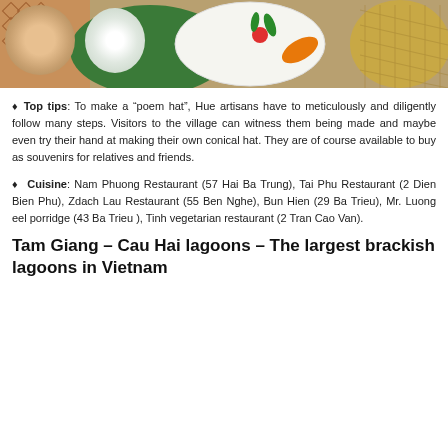[Figure (photo): Vietnamese conical hats (non la) with embroidered patterns on white fabric, some with floral and animal designs, alongside a woven straw hat]
Top tips: To make a “poem hat”, Hue artisans have to meticulously and diligently follow many steps. Visitors to the village can witness them being made and maybe even try their hand at making their own conical hat. They are of course available to buy as souvenirs for relatives and friends.
Cuisine: Nam Phuong Restaurant (57 Hai Ba Trung), Tai Phu Restaurant (2 Dien Bien Phu), Zdach Lau Restaurant (55 Ben Nghe), Bun Hien (29 Ba Trieu), Mr. Luong eel porridge (43 Ba Trieu ), Tinh vegetarian restaurant (2 Tran Cao Van).
Tam Giang – Cau Hai lagoons – The largest brackish lagoons in Vietnam